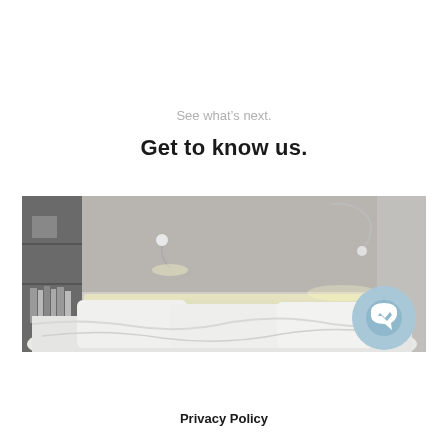See what's next.
Get to know us.
[Figure (photo): Black and white / grayscale photo of a hotel or bedroom scene: a bed with white pillows and rumpled white sheets, a padded headboard, two flexible reading lamps (one on each side), and a bookshelf visible on the left side. A circular light-blue Facebook Messenger icon badge overlaid in the lower-right corner of the image.]
Privacy Policy